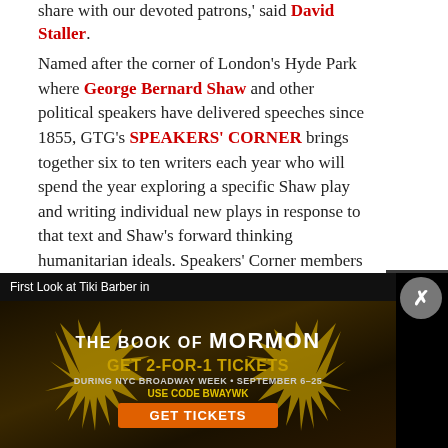share with our devoted patrons,' said David Staller.
Named after the corner of London's Hyde Park where George Bernard Shaw and other political speakers have delivered speeches since 1855, GTG's SPEAKERS' CORNER brings together six to ten writers each year who will spend the year exploring a specific Shaw play and writing individual new plays in response to that text and Shaw's forward thinking humanitarian ideals. Speakers' Corner members meet bi-monthly, and GTG will host showings of the works that Speakers' Corner develops at the end of the season. The group's members were identified through an open application
[Figure (screenshot): Dark sidebar with 'share' label, Twitter bird icon in cyan, and Facebook icon in blue/cyan]
[Figure (screenshot): Advertisement banner: 'First Look at Tiki Barber in' ticker, The Book of Mormon ad with 'GET 2-FOR-1 TICKETS DURING NYC BROADWAY WEEK · SEPTEMBER 6–25 USE CODE BWAYWK GET TICKETS' on dark gold/black background with close button]